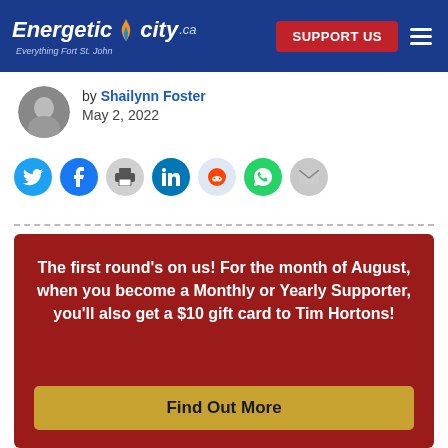Energetic City.ca — Everything Fort St. John | SUPPORT US
by Shailynn Foster
May 2, 2022
[Figure (infographic): Social sharing icons: Twitter, Facebook, Print, LinkedIn, Reddit, WhatsApp, Email]
The first round's on us! For the month of August, when you become a Monthly or Yearly Supporter, you'll also get a $10 gift card to Tim Hortons!
Find Out More